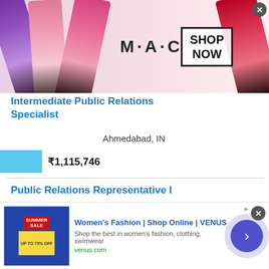[Figure (illustration): MAC cosmetics advertisement banner showing lipsticks in purple, pink, rose, and red colors with MAC logo and SHOP NOW button]
Intermediate Public Relations Specialist
Ahmedabad, IN
₹1,115,746
Public Relations Representative I
Ahmedabad, IN
₹442,540
This site uses cookies and other similar technologies to provide site functionality, analyze traffic and usage, and
[Figure (screenshot): Women's Fashion | Shop Online | VENUS advertisement banner with summer sale image and Shop Now arrow button]